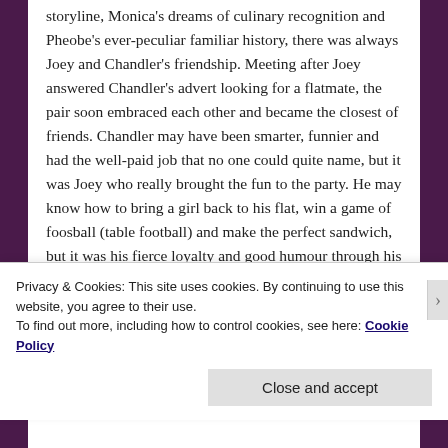storyline, Monica's dreams of culinary recognition and Pheobe's ever-peculiar familiar history, there was always Joey and Chandler's friendship. Meeting after Joey answered Chandler's advert looking for a flatmate, the pair soon embraced each other and became the closest of friends. Chandler may have been smarter, funnier and had the well-paid job that no one could quite name, but it was Joey who really brought the fun to the party. He may know how to bring a girl back to his flat, win a game of foosball (table football) and make the perfect sandwich, but it was his fierce loyalty and good humour through his acting struggles that made him so endearing. The fact that Joey knew exactly what Chandler looked like in the shower, was happy to wear his flatmate's clothes and
Privacy & Cookies: This site uses cookies. By continuing to use this website, you agree to their use.
To find out more, including how to control cookies, see here: Cookie Policy
Close and accept